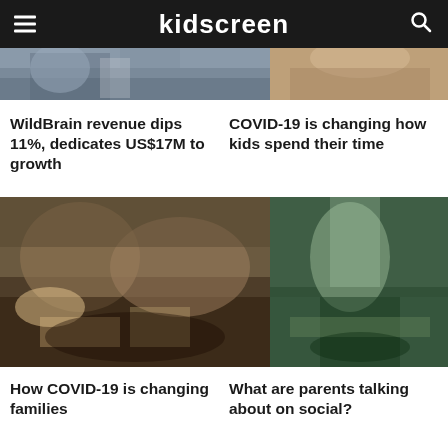kidscreen
[Figure (photo): Cropped photo strip at top showing people in business/casual settings]
WildBrain revenue dips 11%, dedicates US$17M to growth
COVID-19 is changing how kids spend their time
[Figure (photo): Family at dinner table sharing a meal]
[Figure (photo): Child outdoors building something with sticks]
How COVID-19 is changing families
What are parents talking about on social?